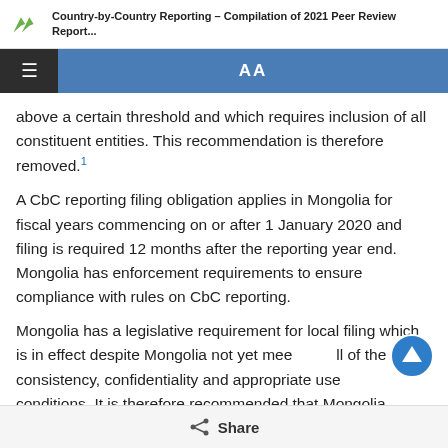Country-by-Country Reporting – Compilation of 2021 Peer Review Report...
above a certain threshold and which requires inclusion of all constituent entities. This recommendation is therefore removed.¹
A CbC reporting filing obligation applies in Mongolia for fiscal years commencing on or after 1 January 2020 and filing is required 12 months after the reporting year end. Mongolia has enforcement requirements to ensure compliance with rules on CbC reporting.
Mongolia has a legislative requirement for local filing which is in effect despite Mongolia not yet meeting all of the consistency, confidentiality and appropriate use conditions. It is therefore recommended that Mongolia
Share